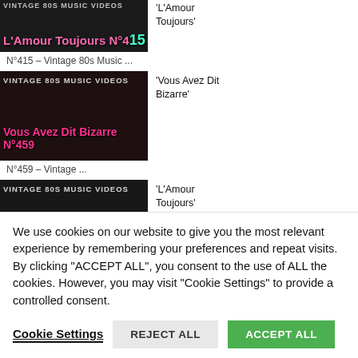[Figure (screenshot): Thumbnail: L'Amour Toujours N°415 vintage 80s music video]
'L'Amour Toujours'
N°415 – Vintage 80s Music ...
[Figure (screenshot): Thumbnail: Vous Avez Dit Bizarre N°459 vintage 80s music video]
'Vous Avez Dit Bizarre'
N°459 – Vintage ...
[Figure (screenshot): Thumbnail: L'Amour Toujours N°217 vintage 80s music video]
'L'Amour Toujours'
N°217 – Vintage 80s Music
We use cookies on our website to give you the most relevant experience by remembering your preferences and repeat visits. By clicking "ACCEPT ALL", you consent to the use of ALL the cookies. However, you may visit "Cookie Settings" to provide a controlled consent.